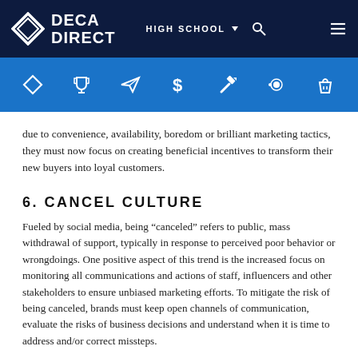DECA DIRECT | HIGH SCHOOL
due to convenience, availability, boredom or brilliant marketing tactics, they must now focus on creating beneficial incentives to transform their new buyers into loyal customers.
6. CANCEL CULTURE
Fueled by social media, being “canceled” refers to public, mass withdrawal of support, typically in response to perceived poor behavior or wrongdoings. One positive aspect of this trend is the increased focus on monitoring all communications and actions of staff, influencers and other stakeholders to ensure unbiased marketing efforts. To mitigate the risk of being canceled, brands must keep open channels of communication, evaluate the risks of business decisions and understand when it is time to address and/or correct missteps.
7. INCLUSIVITY
Given the importance of equality, inclusion and diversity brought into the spotlight by racial inequality protests in 2020, marketers must evaluate all campaigns to ensure no group of individuals is excluded or marginalized.